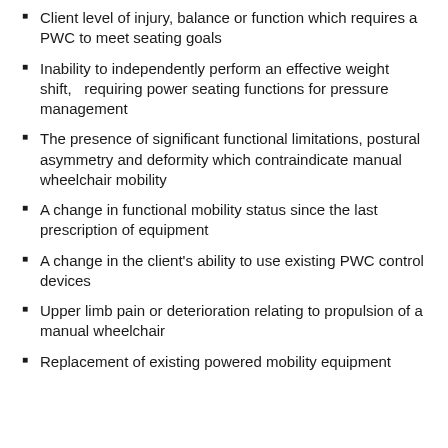Client level of injury, balance or function which requires a PWC to meet seating goals
Inability to independently perform an effective weight shift,   requiring power seating functions for pressure management
The presence of significant functional limitations, postural asymmetry and deformity which contraindicate manual wheelchair mobility
A change in functional mobility status since the last prescription of equipment
A change in the client's ability to use existing PWC control devices
Upper limb pain or deterioration relating to propulsion of a manual wheelchair
Replacement of existing powered mobility equipment